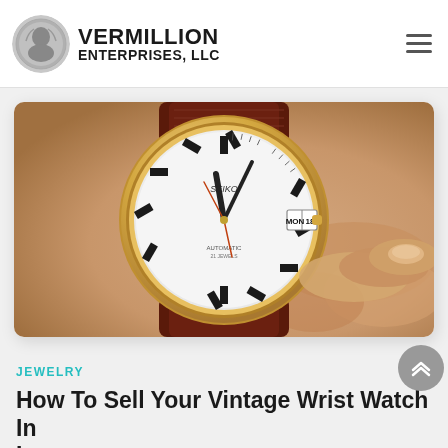VERMILLION ENTERPRISES, LLC
[Figure (photo): Close-up photo of a vintage Seiko automatic wristwatch with white dial, gold-tone case, brown leather strap, showing MON 18 on day-date window, held by a person's hand.]
JEWELRY
How To Sell Your Vintage Wrist Watch In Inverness